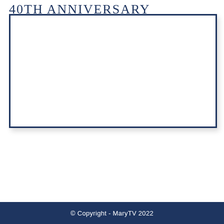40TH ANNIVERSARY
[Figure (photo): A large white rectangular image box with a dark navy blue border, representing a photo placeholder.]
© Copyright - MaryTV 2022